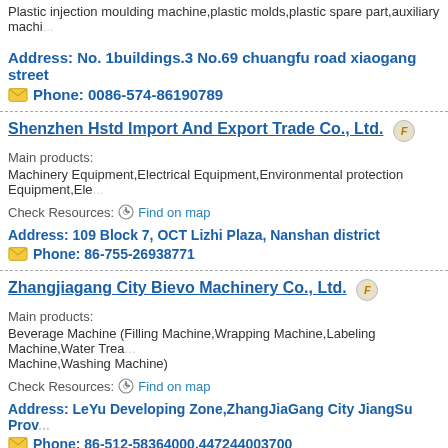Plastic injection moulding machine,plastic molds,plastic spare part,auxiliary machi...
Address: No. 1buildings.3 No.69 chuangfu road xiaogang street
Phone: 0086-574-86190789
Shenzhen Hstd Import And Export Trade Co., Ltd.
Main products:
Machinery Equipment,Electrical Equipment,Environmental protection Equipment,Ele...
Check Resources: Find on map
Address: 109 Block 7, OCT Lizhi Plaza, Nanshan district
Phone: 86-755-26938771
Zhangjiagang City Bievo Machinery Co., Ltd.
Main products:
Beverage Machine (Filling Machine,Wrapping Machine,Labeling Machine,Water Trea... Machine,Washing Machine)
Check Resources: Find on map
Address: LeYu Developing Zone,ZhangJiaGang City JiangSu Prov...
Phone: ...